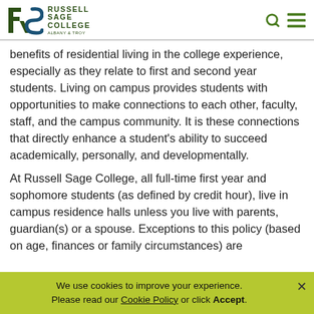Russell Sage College Albany & Troy
benefits of residential living in the college experience, especially as they relate to first and second year students. Living on campus provides students with opportunities to make connections to each other, faculty, staff, and the campus community. It is these connections that directly enhance a student's ability to succeed academically, personally, and developmentally.
At Russell Sage College, all full-time first year and sophomore students (as defined by credit hour), live in campus residence halls unless you live with parents, guardian(s) or a spouse. Exceptions to this policy (based on age, finances or family circumstances) are
We use cookies to improve your experience. Please read our Cookie Policy or click Accept.